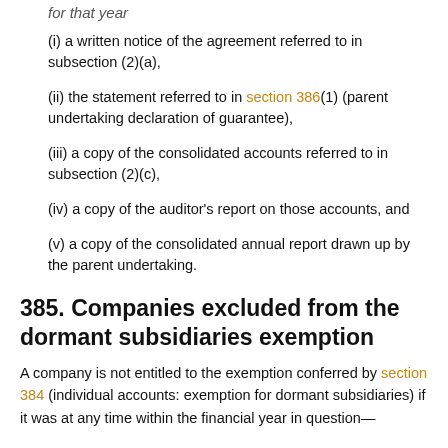for that year
(i) a written notice of the agreement referred to in subsection (2)(a),
(ii) the statement referred to in section 386(1) (parent undertaking declaration of guarantee),
(iii) a copy of the consolidated accounts referred to in subsection (2)(c),
(iv) a copy of the auditor's report on those accounts, and
(v) a copy of the consolidated annual report drawn up by the parent undertaking.
385. Companies excluded from the dormant subsidiaries exemption
A company is not entitled to the exemption conferred by section 384 (individual accounts: exemption for dormant subsidiaries) if it was at any time within the financial year in question—